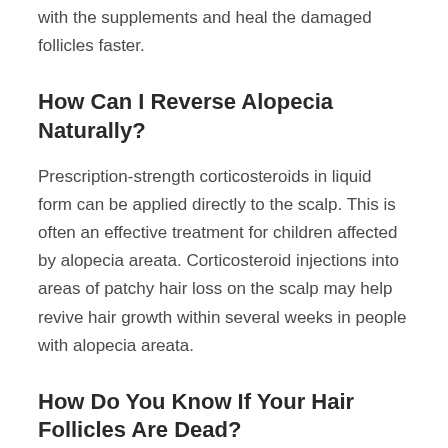with the supplements and heal the damaged follicles faster.
How Can I Reverse Alopecia Naturally?
Prescription-strength corticosteroids in liquid form can be applied directly to the scalp. This is often an effective treatment for children affected by alopecia areata. Corticosteroid injections into areas of patchy hair loss on the scalp may help revive hair growth within several weeks in people with alopecia areata.
How Do You Know If Your Hair Follicles Are Dead?